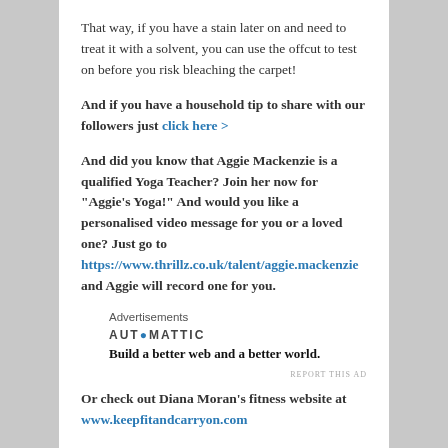That way, if you have a stain later on and need to treat it with a solvent, you can use the offcut to test on before you risk bleaching the carpet!
And if you have a household tip to share with our followers just click here >
And did you know that Aggie Mackenzie is a qualified Yoga Teacher? Join her now for "Aggie's Yoga!" And would you like a personalised video message for you or a loved one? Just go to https://www.thrillz.co.uk/talent/aggie.mackenzie and Aggie will record one for you.
Advertisements
[Figure (logo): Automattic logo with tagline: Build a better web and a better world.]
REPORT THIS AD
Or check out Diana Moran's fitness website at www.keepfitandcarryon.com